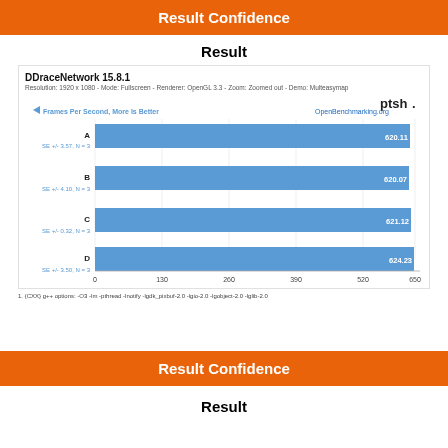Result Confidence
Result
[Figure (bar-chart): DDraceNetwork 15.8.1]
1. {CXX} g++ options: -O3 -lm -pthreads -lnotify -lgdk_pixbuf-2.0 -lgio-2.0 -lgobject-2.0 -lglib-2.0
Result Confidence
Result